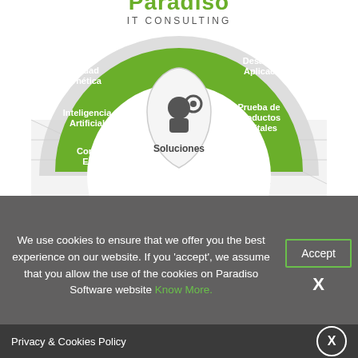[Figure (infographic): Paradiso IT Consulting circular diagram showing services: Migración a la Nube, Seguridad Cibernética, Inteligencia Artificial, Consultoría IT Estratégica on the left arc, and Cloud, Desarrollo de Aplicaciones, Prueba de Productos Digitales on the right arc, with a central teardrop shape labeled Soluciones with a consultant icon.]
We use cookies to ensure that we offer you the best experience on our website. If you 'accept', we assume that you allow the use of the cookies on Paradiso Software website Know More.
Join Our Learning & Development Community On
Privacy & Cookies Policy